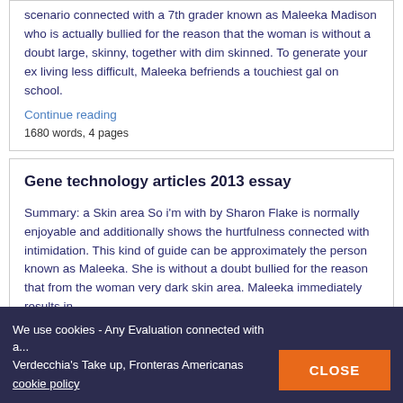scenario connected with a 7th grader known as Maleeka Madison who is actually bullied for the reason that the woman is without a doubt large, skinny, together with dim skinned. To generate your ex living less difficult, Maleeka befriends a touchiest gal on school.
Continue reading
1680 words, 4 pages
Gene technology articles 2013 essay
Summary: a Skin area So i'm with by Sharon Flake is normally enjoyable and additionally shows the hurtfulness connected with intimidation. This kind of guide can be approximately the person known as Maleeka. She is without a doubt bullied for the reason that from the woman very dark skin area. Maleeka immediately results in
We use cookies - Any Evaluation connected with a... Verdecchia's Take up, Fronteras Americanas cookie policy